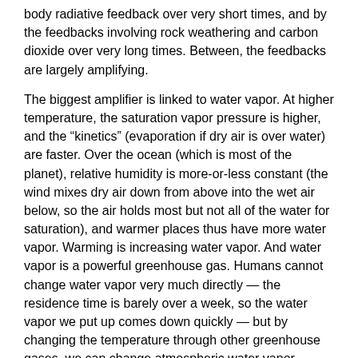body radiative feedback over very short times, and by the feedbacks involving rock weathering and carbon dioxide over very long times. Between, the feedbacks are largely amplifying.
The biggest amplifier is linked to water vapor. At higher temperature, the saturation vapor pressure is higher, and the “kinetics” (evaporation if dry air is over water) are faster. Over the ocean (which is most of the planet), relative humidity is more-or-less constant (the wind mixes dry air down from above into the wet air below, so the air holds most but not all of the water for saturation), and warmer places thus have more water vapor. Warming is increasing water vapor. And water vapor is a powerful greenhouse gas. Humans cannot change water vapor very much directly — the residence time is barely over a week, so the water vapor we put up comes down quickly — but by changing the temperature through other greenhouse gases, we can change atmospheric water vapor because there is an immense ocean out there to respond to the warming by putting more water in the air.
The ice-albedo feedback is straightforward. With warming, snow and ice melt, and that increases absorption of sunlight in the Earth system, warming the planet. Vegetative feedbacks also can matter — we may have